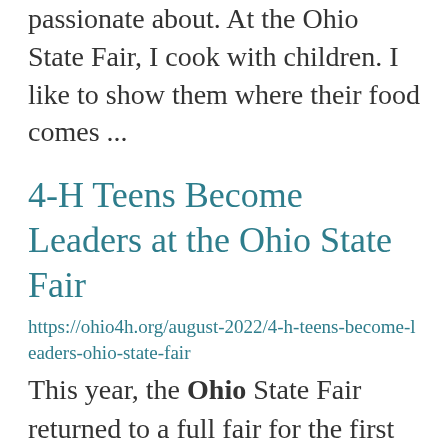passionate about. At the Ohio State Fair, I cook with children. I like to show them where their food comes ...
4-H Teens Become Leaders at the Ohio State Fair
https://ohio4h.org/august-2022/4-h-teens-become-leaders-ohio-state-fair
This year, the Ohio State Fair returned to a full fair for the first time since 2019. Project ... judging took place in the Lausche Youth Center each day, and 4-H members from across the state ... area of interest. For many, this was the first time they had the opportunity to participate in